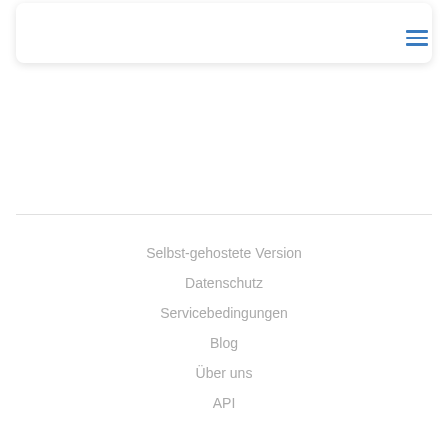[Figure (screenshot): White header card with rounded corners and shadow, containing a hamburger menu icon in blue on the right side]
Selbst-gehostete Version
Datenschutz
Servicebedingungen
Blog
Über uns
API